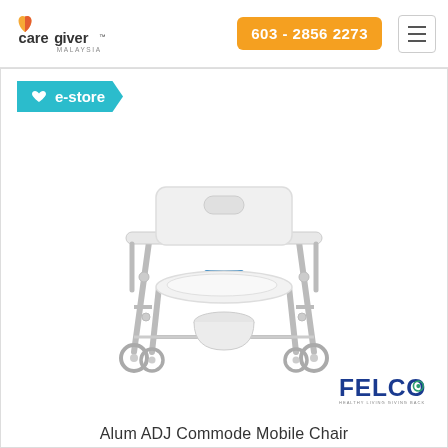Caregiver Malaysia | 603 - 2856 2273
[Figure (logo): Caregiver Malaysia logo with heart icon in orange and red]
[Figure (other): e-store badge in teal/cyan color with heart icon]
[Figure (photo): Aluminium adjustable commode mobile chair with four wheels, white seat and backrest, silver metal frame]
[Figure (logo): FELCO brand logo with tagline 'Healthy Living Giving Back']
Alum ADJ Commode Mobile Chair